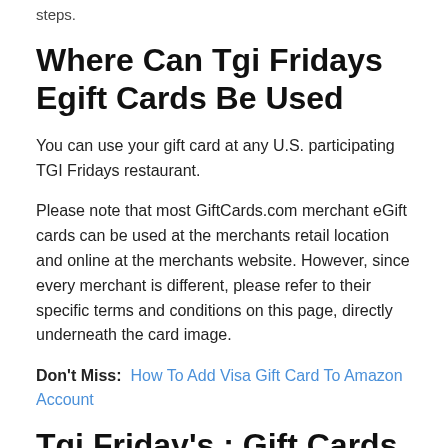steps.
Where Can Tgi Fridays Egift Cards Be Used
You can use your gift card at any U.S. participating TGI Fridays restaurant.
Please note that most GiftCards.com merchant eGift cards can be used at the merchants retail location and online at the merchants website. However, since every merchant is different, please refer to their specific terms and conditions on this page, directly underneath the card image.
Don't Miss:  How To Add Visa Gift Card To Amazon Account
Tgi Friday's : Gift Cards